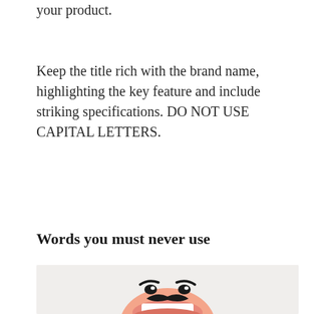your product.

Keep the title rich with the brand name, highlighting the key feature and include striking specifications. DO NOT USE CAPITAL LETTERS.
Words you must never use
[Figure (illustration): Cartoon character face with a wide pink smile/lips, small black mustache, and eyebrows, on a light beige background — illustrating forbidden/bad words concept.]